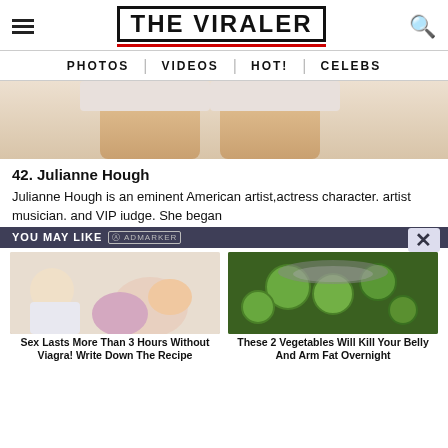THE VIRALER
PHOTOS | VIDEOS | HOT! | CELEBS
[Figure (photo): Cropped photo showing a person's legs and white shorts against a light background]
42. Julianne Hough
Julianne Hough is an eminent American artist, actress character. artist musician. and VIP iudge. She began
YOU MAY LIKE
[Figure (photo): Ad image showing a doctor and cartoon of a couple — Sex Lasts More Than 3 Hours Without Viagra! Write Down The Recipe]
Sex Lasts More Than 3 Hours Without Viagra! Write Down The Recipe
[Figure (photo): Photo of sliced cucumbers with seasoning and a spoon]
These 2 Vegetables Will Kill Your Belly And Arm Fat Overnight